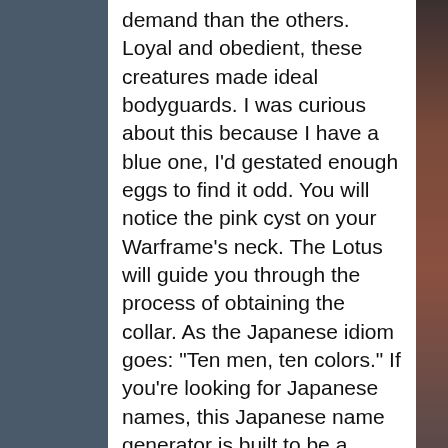demand than the others. Loyal and obedient, these creatures made ideal bodyguards. I was curious about this because I have a blue one, I'd gestated enough eggs to find it odd. You will notice the pink cyst on your Warframe's neck. The Lotus will guide you through the process of obtaining the collar. As the Japanese idiom goes: "Ten men, ten colors." If you're looking for Japanese names, this Japanese name generator is built to be a starting point! My Sahasa Kubrow at level 20 has more health than my fully modded Volt Prime does! A previous update made this option unavailable to gauge the natural colors of the Kubrow. my kubrow originally had a lotus symbol and black fur. Meanwhile, my Kubrow was netting 50+ kills in invasions, and if I stuck to melee and leeched health toward my Kubrow, it rarely would die (outside of over-powered one shots/Bursas/etc). (2018 edition) Kubrow Breeding -A Full Guide. However, a Kubrow in Stasis cannot be consigned and therefore must first be revived from